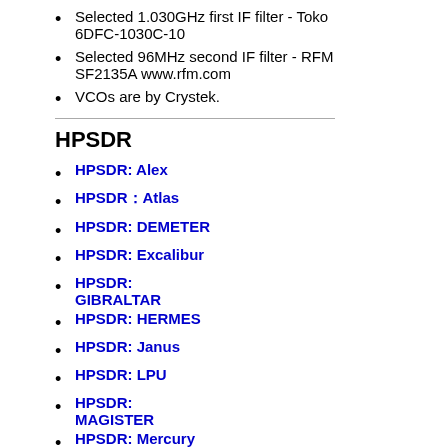Selected 1.030GHz first IF filter - Toko 6DFC-1030C-10
Selected 96MHz second IF filter - RFM SF2135A www.rfm.com
VCOs are by Crystek.
HPSDR
HPSDR: Alex
HPSDR：Atlas
HPSDR: DEMETER
HPSDR: Excalibur
HPSDR: GIBRALTAR
HPSDR: HERMES
HPSDR: Janus
HPSDR: LPU
HPSDR: MAGISTER
HPSDR: Mercury
HPSDR: ODYSSEY
HPSDR: OZY
HPSDR: OZYII